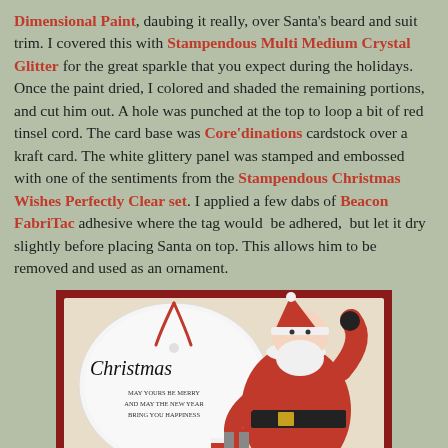Dimensional Paint, daubing it really, over Santa's beard and suit trim. I covered this with Stampendous Multi Medium Crystal Glitter for the great sparkle that you expect during the holidays. Once the paint dried, I colored and shaded the remaining portions, and cut him out. A hole was punched at the top to loop a bit of red tinsel cord. The card base was Core'dinations cardstock over a kraft card. The white glittery panel was stamped and embossed with one of the sentiments from the Stampendous Christmas Wishes Perfectly Clear set. I applied a few dabs of Beacon FabriTac adhesive where the tag would be adhered, but let it dry slightly before placing Santa on top. This allows him to be removed and used as an ornament.
[Figure (photo): A Christmas card featuring a vintage Santa Claus figure cut out and placed on top of a white glittery stamped panel on a red cardstock background. The white panel has an oval shape with 'Christmas' written in script and sentiment text below. A red tinsel cord is visible looped through a hole at the top of the Santa ornament.]